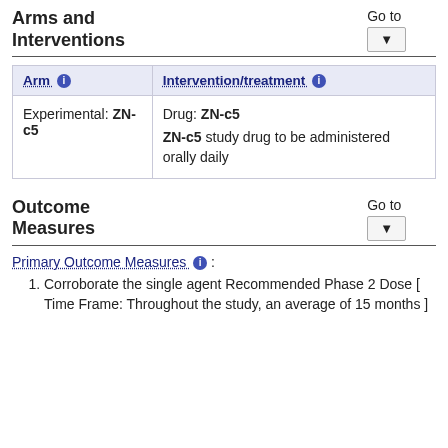Arms and Interventions
| Arm | Intervention/treatment |
| --- | --- |
| Experimental: ZN-c5 | Drug: ZN-c5
ZN-c5 study drug to be administered orally daily |
Outcome Measures
Primary Outcome Measures :
Corroborate the single agent Recommended Phase 2 Dose [ Time Frame: Throughout the study, an average of 15 months ]